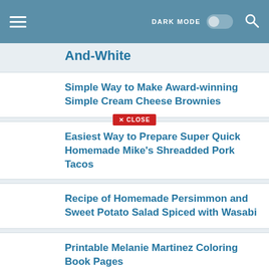DARK MODE
And-White
Simple Way to Make Award-winning Simple Cream Cheese Brownies
Easiest Way to Prepare Super Quick Homemade Mike's Shreadded Pork Tacos
Recipe of Homemade Persimmon and Sweet Potato Salad Spiced with Wasabi
Printable Melanie Martinez Coloring Book Pages
Step-by-Step Guide to Prepare Homemade Tuna Horseradish Salad Sandwich